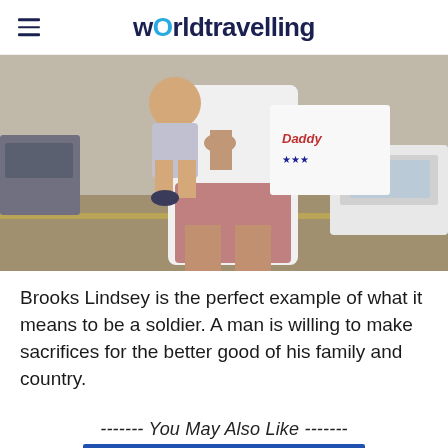worldtravelling
[Figure (photo): A person holding a child, wearing a white t-shirt, standing near a car. A sign reading 'Daddy' with patriotic decorations is visible.]
Brooks Lindsey is the perfect example of what it means to be a soldier. A man is willing to make sacrifices for the better good of his family and country.
------- You May Also Like -------
[Figure (illustration): Comic book style illustration, partially visible at bottom of page.]